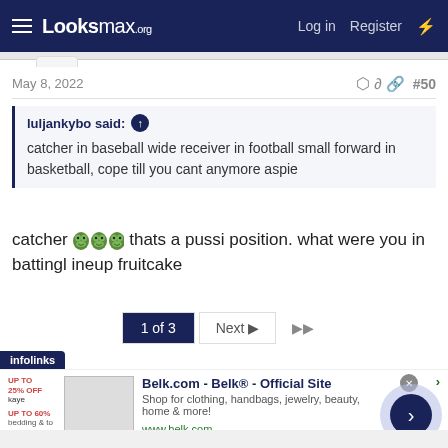Looksmax.org — Log in  Register
May 8, 2022   #50
luljankybo said: ↑
catcher in baseball wide receiver in football small forward in basketball, cope till you cant anymore aspie
catcher [pepe emojis] thats a pussi position. what were you in battingl ineup fruitcake
1 of 3  Next ▶  ▶▶
infolinks
Belk.com - Belk® - Official Site
Shop for clothing, handbags, jewelry, beauty, home & more!
www.belk.com